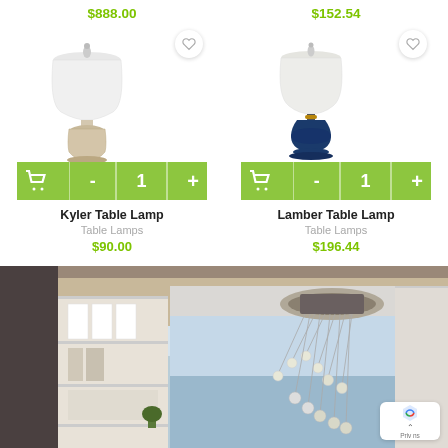$888.00
$152.54
[Figure (photo): Kyler Table Lamp product image, white fabric shade with ornate white/beige base]
[Figure (photo): Lamber Table Lamp product image, white fabric shade with navy blue hourglass base]
Kyler Table Lamp
Table Lamps
$90.00
Lamber Table Lamp
Table Lamps
$196.44
[Figure (photo): Interior room photo showing a modern pendant chandelier with multiple hanging globe lights over a living/dining area with ocean view]